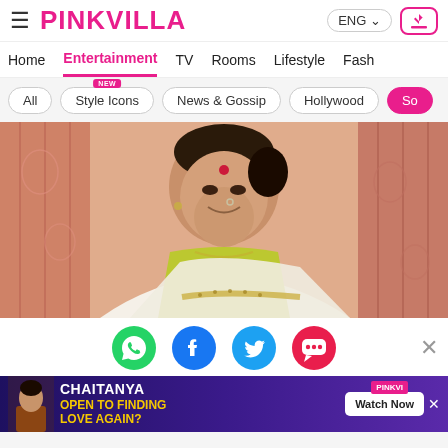PINKVILLA | ENG | Navigation: Home, Entertainment, TV, Rooms, Lifestyle, Fash
All | Style Icons (NEW) | News & Gossip | Hollywood | So
[Figure (photo): Indian woman in white and yellow-green saree with gold border, smiling, wearing bindi and nose ring, standing in front of pink floral curtains]
[Figure (infographic): Social sharing icons: WhatsApp (green), Facebook (blue), Twitter (cyan), Chat/more (pink/red)]
[Figure (infographic): Advertisement banner: Chaitanya 'Open to Finding Love Again?' with Watch Now button, purple background with yellow text, Pinkvilla branding]